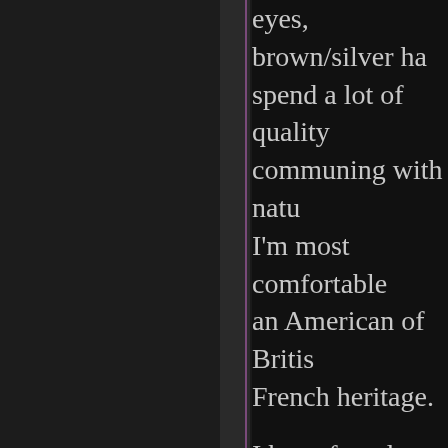eyes, brown/silver ha... spend a lot of quality communing with natu... I'm most comfortable an American of Britis... French heritage.
I have found having d... and HSP that shapes a... focus to overcome the... a defining quality to n... character. Apart from problems it has also g... depth that others don'... have matched with a l... sense of humility. In t... was a bit overwhelmi...